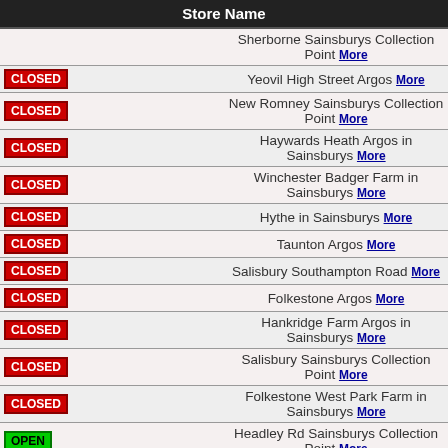|  | Store Name |
| --- | --- |
|  | Sherborne Sainsburys Collection Point More |
| CLOSED | Yeovil High Street Argos More |
| CLOSED | New Romney Sainsburys Collection Point More |
| CLOSED | Haywards Heath Argos in Sainsburys More |
| CLOSED | Winchester Badger Farm in Sainsburys More |
| CLOSED | Hythe in Sainsburys More |
| CLOSED | Taunton Argos More |
| CLOSED | Salisbury Southampton Road More |
| CLOSED | Folkestone Argos More |
| CLOSED | Hankridge Farm Argos in Sainsburys More |
| CLOSED | Salisbury Sainsburys Collection Point More |
| CLOSED | Folkestone West Park Farm in Sainsburys More |
| OPEN | Headley Rd Sainsburys Collection Point More |
| CLOSED | Crawley Kingsgate Argos More |
| CLOSED | West Green Argos in Sainsburys More |
| CLOSED | East Grinstead Argos More |
| CLOSED | Tunbridge Wells in Sainsburys More |
| CLOSED | Crawley County Oak RP Closing soon More |
| CLOSED | Ashford Business Park Argos More |
| CLOSED | Dover Argos More |
| CLOSED | Alton Argos in Sainsburys More |
| CLOSED | Tunbridge Longfield Argos More |